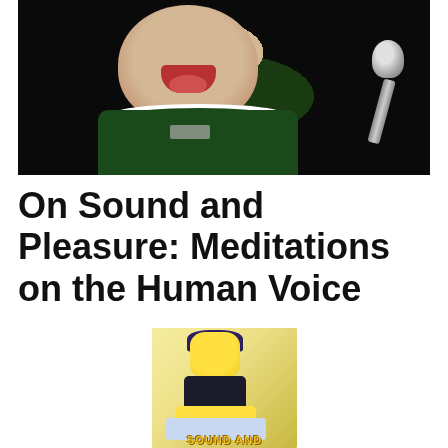[Figure (photo): A person with mouth wide open and tongue out, wearing a dark green Adidas jersey with white collar stripes, leaning toward a silver microphone. Dark background.]
On Sound and Pleasure: Meditations on the Human Voice
[Figure (photo): A LEGO minifigure with black bowl-cut hair and a dark outfit, sitting at a keyboard/piano. Text at the bottom reads 'SOUND AND' in yellow block letters.]